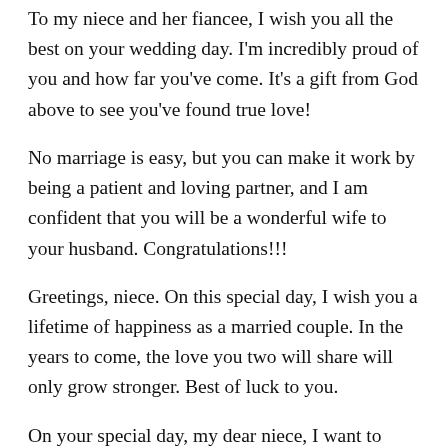To my niece and her fiancee, I wish you all the best on your wedding day. I'm incredibly proud of you and how far you've come. It's a gift from God above to see you've found true love!
No marriage is easy, but you can make it work by being a patient and loving partner, and I am confident that you will be a wonderful wife to your husband. Congratulations!!!
Greetings, niece. On this special day, I wish you a lifetime of happiness as a married couple. In the years to come, the love you two will share will only grow stronger. Best of luck to you.
On your special day, my dear niece, I want to wish you